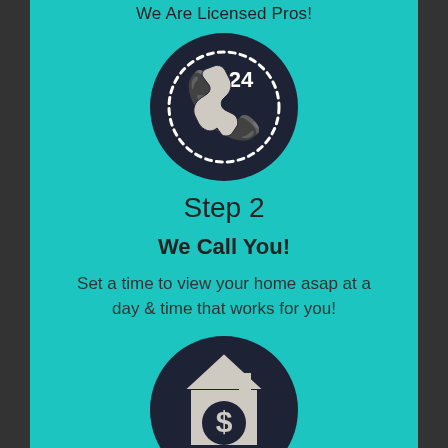We Are Licensed Pros!
[Figure (illustration): Dark navy circle with a phone handset icon and '24' text with a dotted arc, representing 24-hour availability]
Step 2
We Call You!
Set a time to view your home asap at a day & time that works for you!
[Figure (illustration): Dark navy circle with a house icon featuring a dollar sign, representing home buying/cash offer]
Step 3